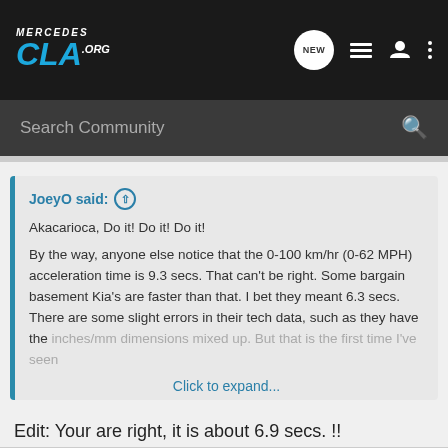Mercedes CLA .org — NEW (search icon, list icon, user icon, more icon)
Search Community
JoeyO said: ↑
Akacarioca, Do it! Do it! Do it!

By the way, anyone else notice that the 0-100 km/hr (0-62 MPH) acceleration time is 9.3 secs. That can't be right. Some bargain basement Kia's are faster than that. I bet they meant 6.3 secs. There are some slight errors in their tech data, such as they have the inches/mm dimensions mixed up. But that is the first time I've seen
Click to expand...
Edit: Your are right, it is about 6.9 secs. !!